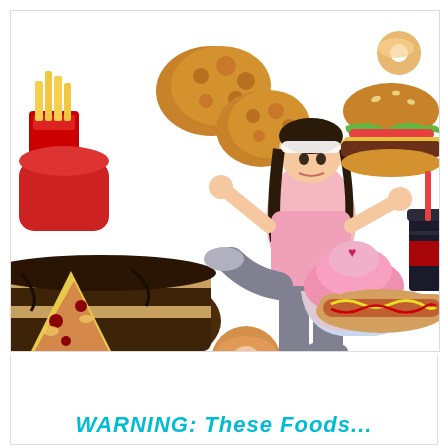[Figure (photo): A collage/composite photo showing an overweight woman in workout clothes (pink top, grey leggings, white headband) kicking and pushing away various unhealthy foods: fried chicken, french fries, a donut, pizza, a cupcake, a hamburger, a hot dog, a soda, and a chocolate cake slice. The woman appears to be actively rejecting junk food. White background.]
WARNING: These Foods...